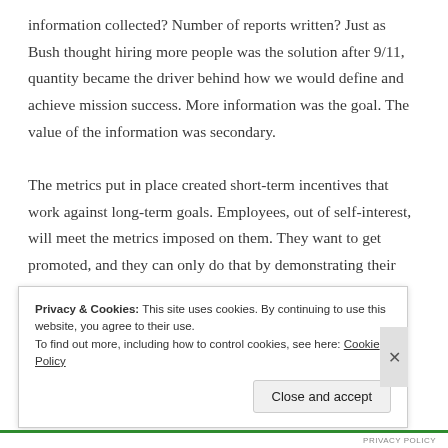information collected? Number of reports written? Just as Bush thought hiring more people was the solution after 9/11, quantity became the driver behind how we would define and achieve mission success. More information was the goal. The value of the information was secondary.

The metrics put in place created short-term incentives that work against long-term goals. Employees, out of self-interest, will meet the metrics imposed on them. They want to get promoted, and they can only do that by demonstrating their performance against these
Privacy & Cookies: This site uses cookies. By continuing to use this website, you agree to their use.
To find out more, including how to control cookies, see here: Cookie Policy